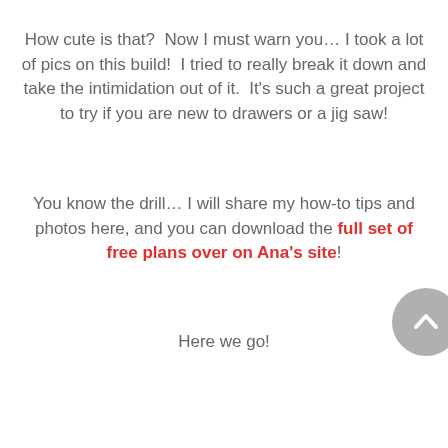How cute is that?  Now I must warn you… I took a lot of pics on this build!  I tried to really break it down and take the intimidation out of it.  It's such a great project to try if you are new to drawers or a jig saw!
You know the drill… I will share my how-to tips and photos here, and you can download the full set of free plans over on Ana's site!
Here we go!